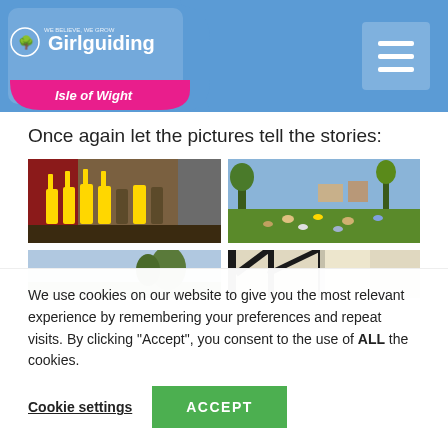Girlguiding Isle of Wight
Once again let the pictures tell the stories:
[Figure (photo): Girls in yellow uniforms on stage holding papers above their heads, with red curtains in background]
[Figure (photo): Children sitting outdoors on a green lawn in a socially distanced arrangement]
[Figure (photo): Partially visible outdoor photo with sky and trees]
[Figure (photo): Partially visible interior photo showing black timber framing]
We use cookies on our website to give you the most relevant experience by remembering your preferences and repeat visits. By clicking “Accept”, you consent to the use of ALL the cookies.
Cookie settings
ACCEPT